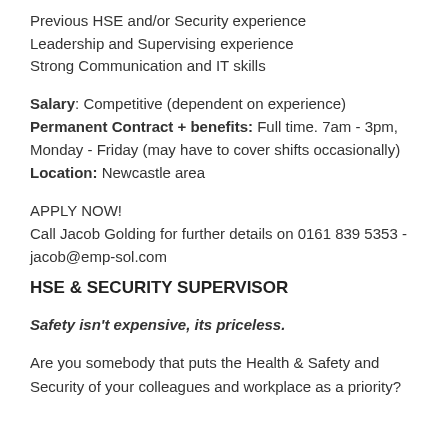Previous HSE and/or Security experience
Leadership and Supervising experience
Strong Communication and IT skills
Salary: Competitive (dependent on experience)
Permanent Contract + benefits: Full time. 7am - 3pm, Monday - Friday (may have to cover shifts occasionally)
Location: Newcastle area
APPLY NOW!
Call Jacob Golding for further details on 0161 839 5353 - jacob@emp-sol.com
HSE & SECURITY SUPERVISOR
Safety isn't expensive, its priceless.
Are you somebody that puts the Health & Safety and Security of your colleagues and workplace as a priority?